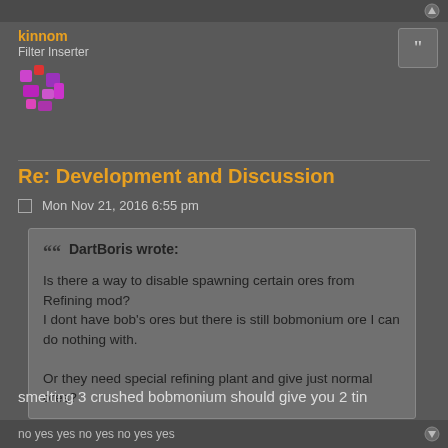kinnom
Filter Inserter
[Figure (illustration): User avatar: colorful pixel art character]
Re: Development and Discussion
Mon Nov 21, 2016 6:55 pm
DartBoris wrote: Is there a way to disable spawning certain ores from Refining mod? I dont have bob's ores but there is still bobmonium ore I can do nothing with.

Or they need special refining plant and give just normal ores?
smelting 3 crushed bobmonium should give you 2 tin
no yes yes no yes no yes yes